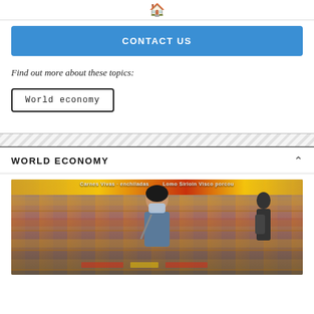🏠
CONTACT US
Find out more about these topics:
World economy
WORLD ECONOMY
[Figure (photo): Woman wearing a face mask shopping in a supermarket aisle filled with products on shelves. A second person is visible in the background. Red and yellow store signage is visible.]